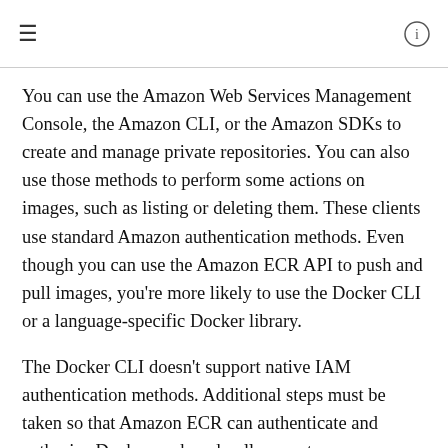You can use the Amazon Web Services Management Console, the Amazon CLI, or the Amazon SDKs to create and manage private repositories. You can also use those methods to perform some actions on images, such as listing or deleting them. These clients use standard Amazon authentication methods. Even though you can use the Amazon ECR API to push and pull images, you're more likely to use the Docker CLI or a language-specific Docker library.
The Docker CLI doesn't support native IAM authentication methods. Additional steps must be taken so that Amazon ECR can authenticate and authorize Docker push and pull requests.
The registry authentication methods that are detailed in the following sections are available.